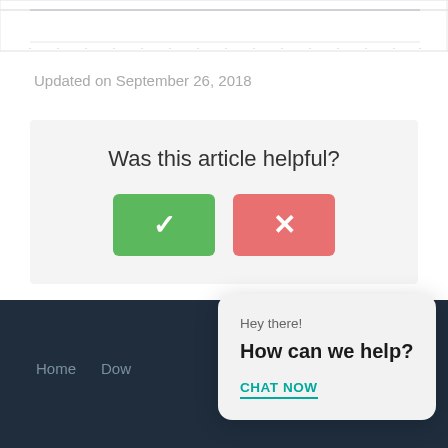[Figure (continuous-plot): Partial chart stub visible at top of page with a flat horizontal line near top and x-axis labels along the bottom]
Updated on September 26, 2018
[Figure (other): Feedback widget with question 'Was this article helpful?' and two buttons: green checkmark (yes) and red/salmon X (no)]
© Home Dow...
[Figure (other): Chat popup overlay: 'Hey there! How can we help? CHAT NOW']